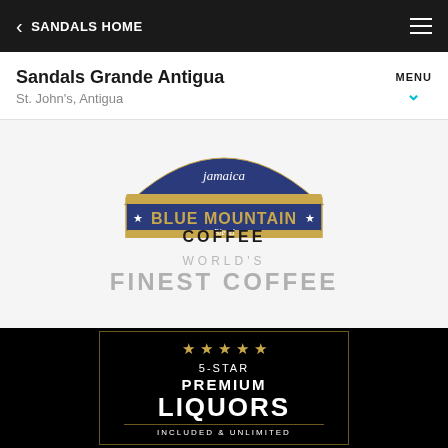SANDALS HOME
Sandals Grande Antigua
St. John's, Antigua
[Figure (logo): Jamaica Blue Mountain Blend Coffee logo — dark blue banner with gold text]
WORLD'S FINEST COFFEE
[Figure (logo): 5-Star Premium Liquors Included & Unlimited badge on black background with gold stars and border]